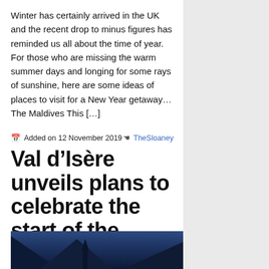Winter has certainly arrived in the UK and the recent drop to minus figures has reminded us all about the time of year. For those who are missing the warm summer days and longing for some rays of sunshine, here are some ideas of places to visit for a New Year getaway… The Maldives This […]
Added on 12 November 2019   TheSloaney
Val d'Isère unveils plans to celebrate the start of the 2019-2020 winter season
[Figure (photo): Night or dusk photograph of a snowy mountain village with a church tower and illuminated buildings against a dark blue sky]